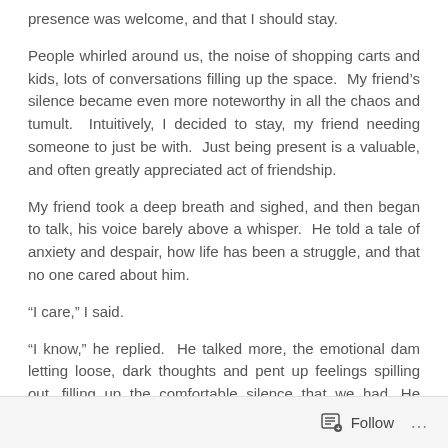presence was welcome, and that I should stay.
People whirled around us, the noise of shopping carts and kids, lots of conversations filling up the space.  My friend’s silence became even more noteworthy in all the chaos and tumult.  Intuitively, I decided to stay, my friend needing someone to just be with.  Just being present is a valuable, and often greatly appreciated act of friendship.
My friend took a deep breath and sighed, and then began to talk, his voice barely above a whisper.  He told a tale of anxiety and despair, how life has been a struggle, and that no one cared about him.
“I care,” I said.
“I know,” he replied.  He talked more, the emotional dam letting loose, dark thoughts and pent up feelings spilling out, filling up the comfortable silence that we had. He looked me in the eye, and
Follow ...